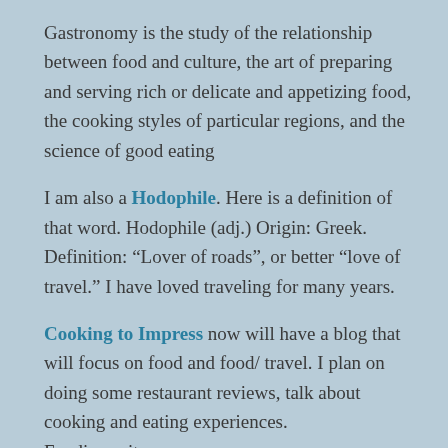Gastronomy is the study of the relationship between food and culture, the art of preparing and serving rich or delicate and appetizing food, the cooking styles of particular regions, and the science of good eating
I am also a Hodophile. Here is a definition of that word. Hodophile (adj.) Origin: Greek. Definition: “Lover of roads”, or better “love of travel.” I have loved traveling for many years.
Cooking to Impress now will have a blog that will focus on food and food/ travel. I plan on doing some restaurant reviews, talk about cooking and eating experiences.
Foodies unite.